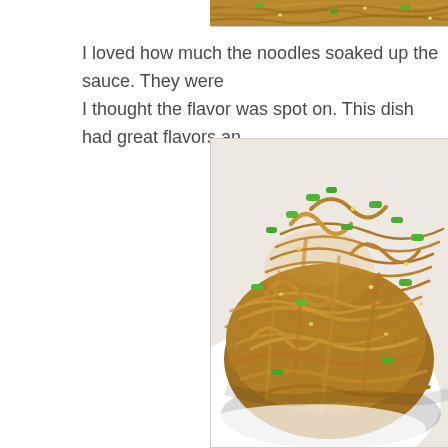[Figure (photo): Top portion of a noodle dish photo, partially cropped at the top of the page showing sauce-coated noodles with green onions]
I loved how much the noodles soaked up the sauce. They were I thought the flavor was spot on. This dish had great flavors an
[Figure (photo): A plate of Asian noodles (lo mein or similar) coated in brown sauce, topped with chopped green scallions, served on a white plate. Close-up food photography.]